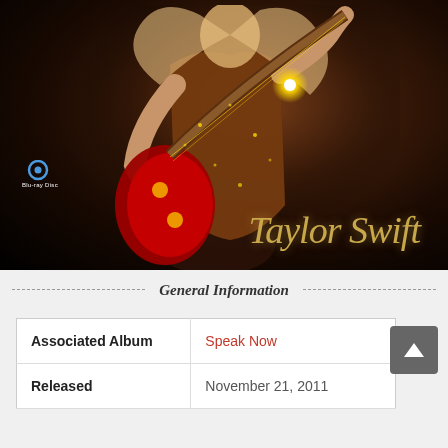[Figure (photo): Taylor Swift performing on stage in a sparkly dress, playing a red electric guitar against a dark background. A Blu-ray Disc logo is visible in the lower left. 'Taylor Swift' signature in gold script is in the lower right.]
General Information
| Associated Album | Speak Now |
| Released | November 21, 2011 |